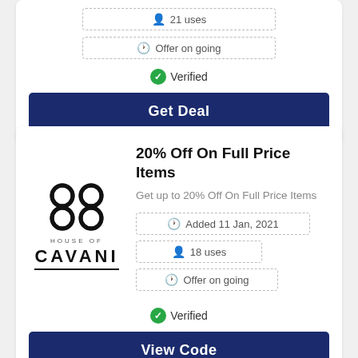21 uses
Offer on going
Verified
Get Deal
20% Off On Full Price Items
Get up to 20% Off On Full Price Items
[Figure (logo): House of Cavani logo with interlocking circles above the brand name]
Added 11 Jan, 2021
18 uses
Offer on going
Verified
View Code